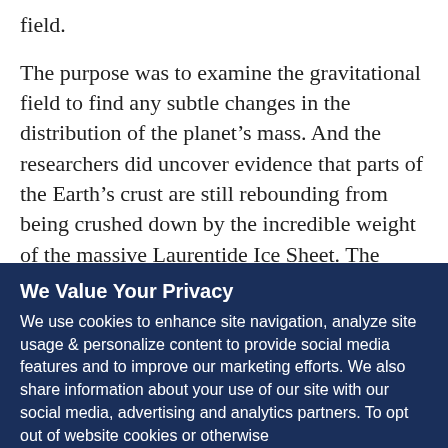field.
The purpose was to examine the gravitational field to find any subtle changes in the distribution of the planet’s mass. And the researchers did uncover evidence that parts of the Earth’s crust are still rebounding from being crushed down by the incredible weight of the massive Laurentide Ice Sheet. The gravitational evidence yields information about the geometry of the ice, which helps our understanding of the ice age climate. It’s also important for improving the climate
We Value Your Privacy
We use cookies to enhance site navigation, analyze site usage & personalize content to provide social media features and to improve our marketing efforts. We also share information about your use of our site with our social media, advertising and analytics partners. To opt out of website cookies or otherwise